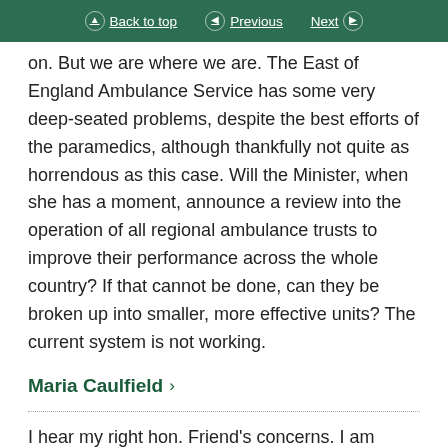Back to top | Previous | Next
on. But we are where we are. The East of England Ambulance Service has some very deep-seated problems, despite the best efforts of the paramedics, although thankfully not quite as horrendous as this case. Will the Minister, when she has a moment, announce a review into the operation of all regional ambulance trusts to improve their performance across the whole country? If that cannot be done, can they be broken up into smaller, more effective units? The current system is not working.
Maria Caulfield >
I hear my right hon. Friend's concerns. I am happy to